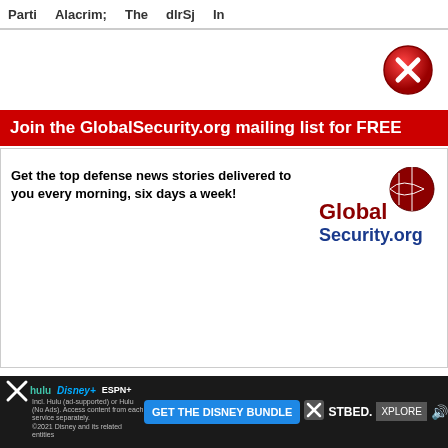Parti  |  Alacrim  |  The  |  dlrSj  |  In
[Figure (screenshot): Red circular close/X button in top right of modal overlay]
Join the GlobalSecurity.org mailing list for FREE
Get the top defense news stories delivered to you every morning, six days a week!
[Figure (logo): GlobalSecurity.org logo with globe graphic in dark red and blue]
[Figure (illustration): Email envelope illustration with red and white design]
Email:  [input field]  Sign Up Now! [button]
We value your privacy. We will not rent or sell your email address.
No thanks, take me to GlobalSecurity.org
[Figure (screenshot): Bottom advertisement bar: Disney Bundle ad with Hulu, Disney+, ESPN+ logos and GET THE DISNEY BUNDLE button, HOSTBED and EXPLORE branding]